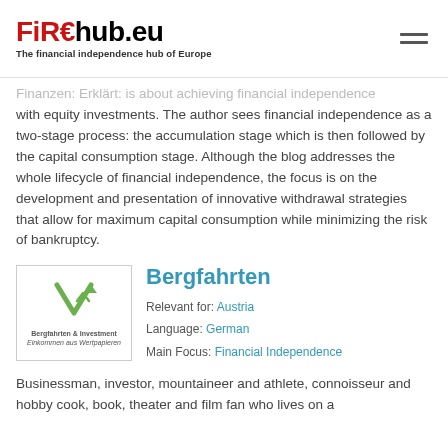FiREhub.eu – The financial independence hub of Europe
Finanzen: Erklärt: is about achieving financial independence with equity investments. The author sees financial independence as a two-stage process: the accumulation stage which is then followed by the capital consumption stage. Although the blog addresses the whole lifecycle of financial independence, the focus is on the development and presentation of innovative withdrawal strategies that allow for maximum capital consumption while minimizing the risk of bankruptcy.
Bergfahrten
Relevant for: Austria
Language: German
Main Focus: Financial Independence
[Figure (logo): Bergfahrten & Investment logo with a green arrow/mountains icon and text 'Bergfahrten & Investment – Einkommen aus Wertpapieren']
Businessman, investor, mountaineer and athlete, connoisseur and hobby cook, book, theater and film fan who lives on a